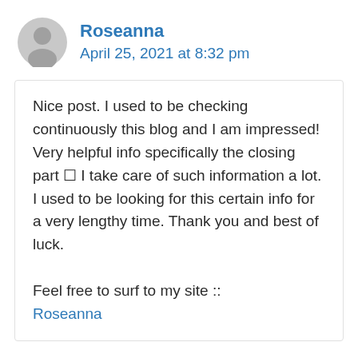Roseanna
April 25, 2021 at 8:32 pm
Nice post. I used to be checking continuously this blog and I am impressed! Very helpful info specifically the closing part 🙂 I take care of such information a lot. I used to be looking for this certain info for a very lengthy time. Thank you and best of luck.

Feel free to surf to my site :: Roseanna